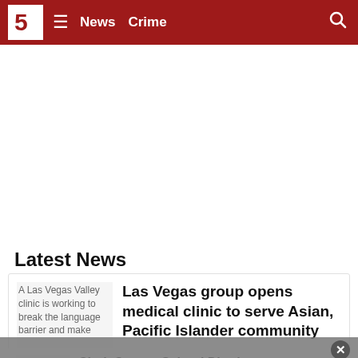5 News | News | Crime
[Figure (other): White blank advertisement area]
Latest News
[Figure (photo): A Las Vegas Valley clinic is working to break the language barrier and make]
Las Vegas group opens medical clinic to serve Asian, Pacific Islander community
[Figure (photo): Monkeypox]
Clark County School District